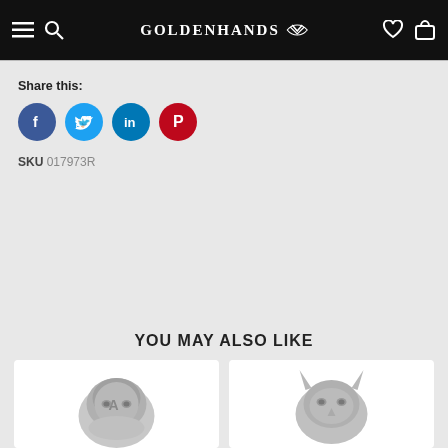GOLDENHANDS
Share this:
[Figure (infographic): Social sharing buttons: Facebook (blue), Twitter (cyan), LinkedIn (blue), Pinterest (red)]
SKU 017973R
YOU MAY ALSO LIKE
[Figure (photo): Silver Captain America helmet charm bead]
[Figure (photo): Silver superhero helmet charm bead]